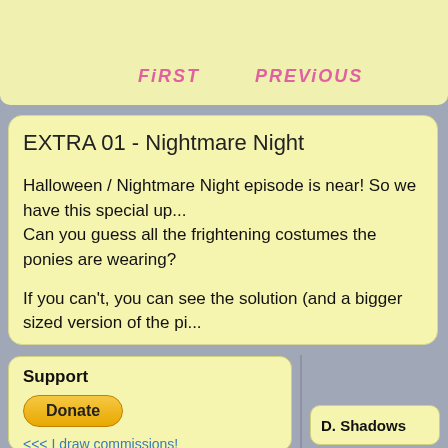[Figure (screenshot): Top navigation bar with yellow background showing FIRST and PREVIOUS navigation labels in pink italic bold text]
EXTRA 01 - Nightmare Night
Halloween / Nightmare Night episode is near! So we have this special up... Can you guess all the frightening costumes the ponies are wearing?
If you can't, you can see the solution (and a bigger sized version of the pi...
Support
Donate
<<< I draw commissions!
Links to my stuff:
-My deviantArt
-Dragon Mail
-nymphs
-Fadri.org
D. Shadows